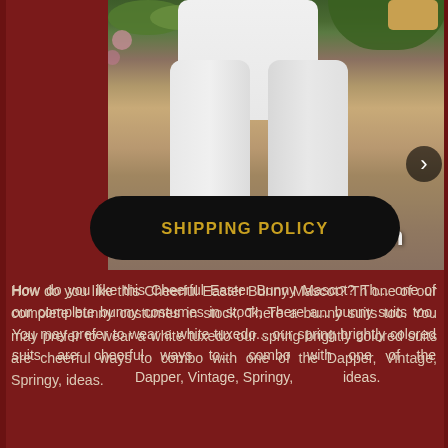[Figure (photo): Lower body of a person wearing a white Easter Bunny mascot costume with fluffy white legs and large white feet, standing on dirt/grass ground outdoors. The website watermark 'DallasVintageShop.com' is overlaid on the image.]
How do you like this Cheerful Easter Bunny Mascot? Th... one of our complete bunny costumes in stock, There a... bunny suits too. You may prefer to wear a white tuxedo... our spring brightly colored suits are cheerful ways to... combo with one of the... Dapper, Vintage, Springy,... ideas.